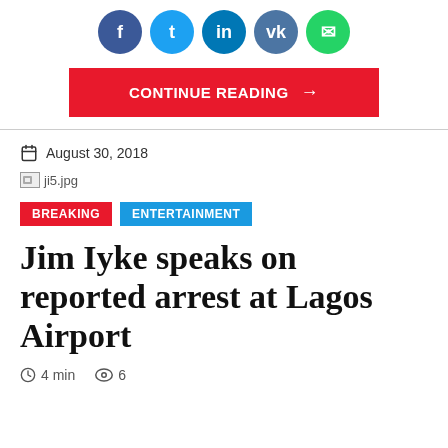[Figure (other): Social media share icons: Facebook, Twitter, LinkedIn, VK, WhatsApp]
CONTINUE READING →
August 30, 2018
[Figure (other): Broken image placeholder labeled ji5.jpg]
BREAKING  ENTERTAINMENT
Jim Iyke speaks on reported arrest at Lagos Airport
4 min  6